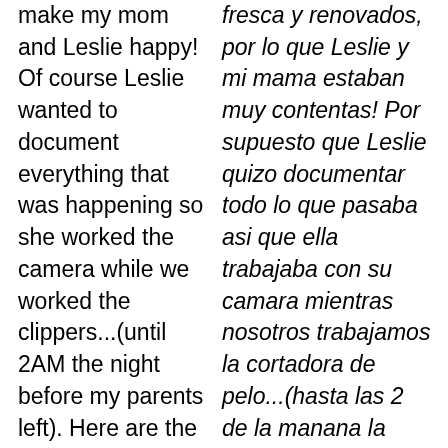make my mom and Leslie happy! Of course Leslie wanted to document everything that was happening so she worked the camera while we worked the clippers...(until 2AM the night before my parents left). Here are the results!
fresca y renovados, por lo que Leslie y mi mama estaban muy contentas! Por supuesto que Leslie quizo documentar todo lo que pasaba asi que ella trabajaba con su camara mientras nosotros trabajamos la cortadora de pelo...(hasta las 2 de la manana la noche antes de que mis papas se fueran). Aqui van los resultados!